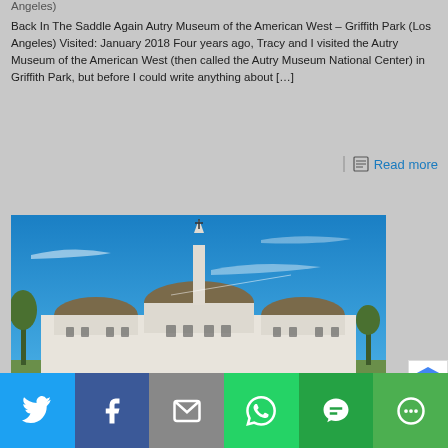Angeles)
Back In The Saddle Again Autry Museum of the American West – Griffith Park (Los Angeles) Visited: January 2018 Four years ago, Tracy and I visited the Autry Museum of the American West (then called the Autry Museum National Center) in Griffith Park, but before I could write anything about […]
Read more
[Figure (photo): Griffith Observatory photographed from outside showing the building's white facade with three domed structures and a central tower obelisk against a bright blue sky with light wispy clouds.]
[Figure (infographic): Social sharing bar with buttons for Twitter (blue), Facebook (dark blue), Email (gray), WhatsApp (green), SMS (green), and More (green)]